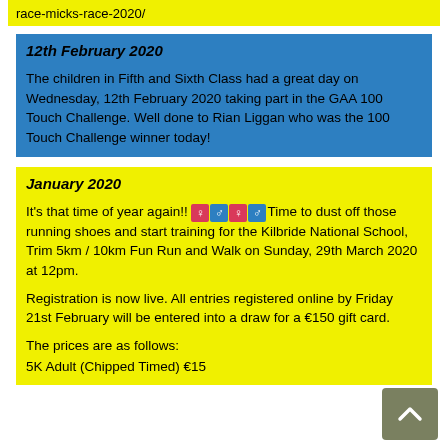race-micks-race-2020/
12th February 2020
The children in Fifth and Sixth Class had a great day on Wednesday, 12th February 2020 taking part in the GAA 100 Touch Challenge. Well done to Rian Liggan who was the 100 Touch Challenge winner today!
January 2020
It's that time of year again!! ♀ ♂ ♀ ♂ Time to dust off those running shoes and start training for the Kilbride National School, Trim 5km / 10km Fun Run and Walk on Sunday, 29th March 2020 at 12pm.
Registration is now live. All entries registered online by Friday 21st February will be entered into a draw for a €150 gift card.
The prices are as follows:
5K Adult (Chipped Timed) €15